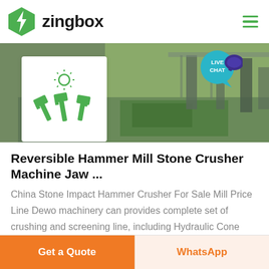zingbox
[Figure (screenshot): Hero image showing industrial crushing/screening machinery in a factory setting, with a white product icon box overlaid showing hammers/crushers icon in green]
Reversible Hammer Mill Stone Crusher Machine Jaw ...
China Stone Impact Hammer Crusher For Sale Mill Price Line Dewo machinery can provides complete set of crushing and screening line, including Hydraulic Cone
Get a Quote
WhatsApp